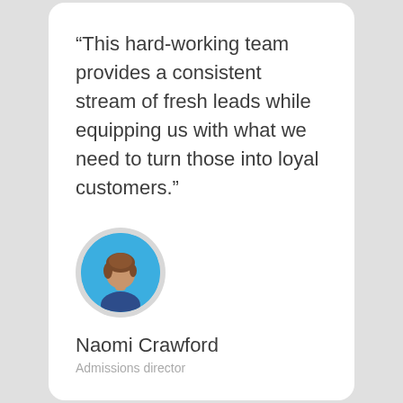“This hard-working team provides a consistent stream of fresh leads while equipping us with what we need to turn those into loyal customers.”
[Figure (illustration): Circular avatar illustration of a woman with short brown hair and a dark blue shirt on a blue background, surrounded by a light gray outer circle.]
Naomi Crawford
Admissions director